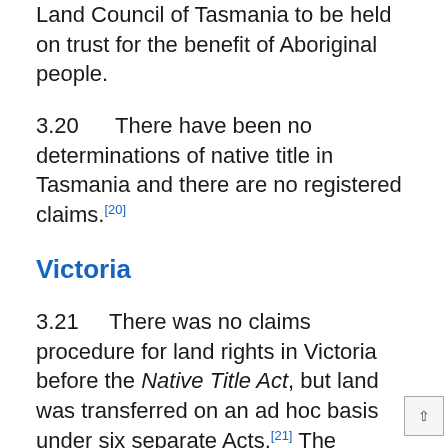Land Council of Tasmania to be held on trust for the benefit of Aboriginal people.
3.20     There have been no determinations of native title in Tasmania and there are no registered claims.[20]
Victoria
3.21     There was no claims procedure for land rights in Victoria before the Native Title Act, but land was transferred on an ad hoc basis under six separate Acts.[21] The